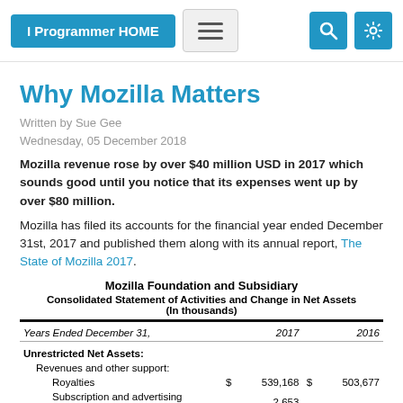I Programmer HOME
Why Mozilla Matters
Written by Sue Gee
Wednesday, 05 December 2018
Mozilla revenue rose by over $40 million USD in 2017 which sounds good until you notice that its expenses went up by over $80 million.
Mozilla has filed its accounts for the financial year ended December 31st, 2017 and published them along with its annual report, The State of Mozilla 2017.
Mozilla Foundation and Subsidiary
Consolidated Statement of Activities and Change in Net Assets (In thousands)
| Years Ended December 31, | 2017 | 2016 |
| --- | --- | --- |
| Unrestricted Net Assets: |  |  |
| Revenues and other support: |  |  |
| Royalties | $ 539,168 | $ 503,677 |
| Subscription and advertising revenue | 2,653 |  |